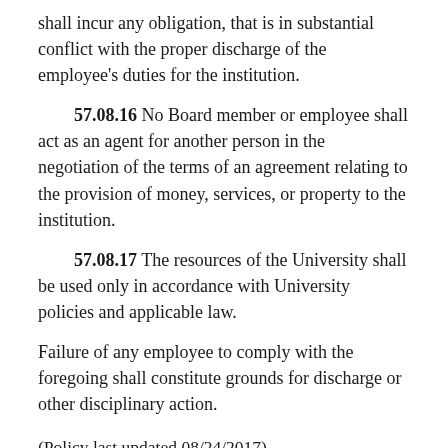shall incur any obligation, that is in substantial conflict with the proper discharge of the employee's duties for the institution.
57.08.16  No Board member or employee shall act as an agent for another person in the negotiation of the terms of an agreement relating to the provision of money, services, or property to the institution.
57.08.17 The resources of the University shall be used only in accordance with University policies and applicable law.
Failure of any employee to comply with the foregoing shall constitute grounds for discharge or other disciplinary action.
(Policy last updated 08/24/2017)